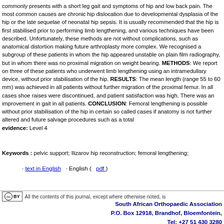commonly presents with a short leg gait and symptoms of hip and low back pain. The most common causes are chronic hip dislocation due to developmental dysplasia of the hip or the late sequelae of neonatal hip sepsis. It is usually recommended that the hip is first stabilised prior to performing limb lengthening, and various techniques have been described. Unfortunately, these methods are not without complications, such as anatomical distortion making future arthroplasty more complex. We recognised a subgroup of these patients in whom the hip appeared unstable on plain film radiography, but in whom there was no proximal migration on weight bearing. METHODS: We report on three of these patients who underwent limb lengthening using an intramedullary device, without prior stabilisation of the hip. RESULTS: The mean length (range 55 to 60 mm) was achieved in all patients without further migration of the proximal femur. In all cases shoe raises were discontinued, and patient satisfaction was high. There was an improvement in gait in all patients. CONCLUSION: Femoral lengthening is possible without prior stabilisation of the hip in certain so called cases if anatomy is not further altered and future salvage procedures such as a total... evidence: Level 4
Keywords : pelvic support; Ilizarov hip reconstruction; femoral lengthening;
· text in English · English ( pdf )
All the contents of this journal, except where otherwise noted, is
South African Orthopaedic Association P.O. Box 12918, Brandhof, Bloemfontein, Tel: +27 51 430 3280 pat@saoj.co.za